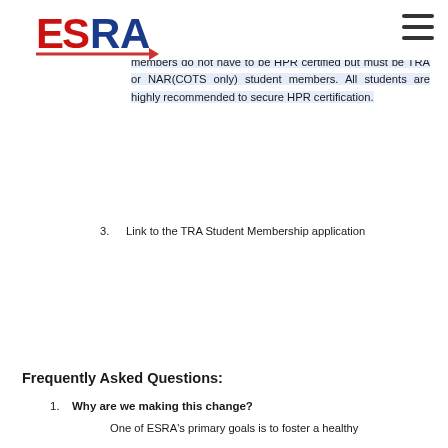ESRA logo and navigation
members. The lock, cover of student members may be on the pad loading team, recovery team, or working with the energetics (motor, ejection charges). These student team members do not have to be HPR certified but must be TRA or NAR(COTS only) student members. All students are highly recommended to secure HPR certification.
3. Link to the TRA Student Membership application
TRA Membership
Frequently Asked Questions:
1. Why are we making this change?
One of ESRA's primary goals is to foster a healthy